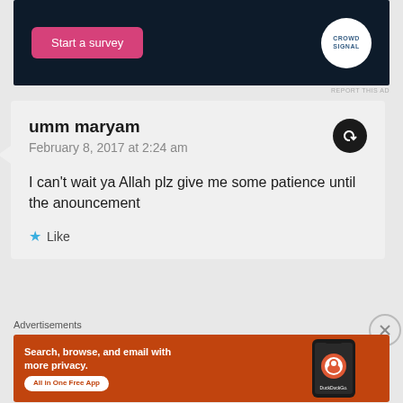[Figure (screenshot): Top advertisement banner: dark navy background with pink 'Start a survey' button and Crowdsignal logo (white circle with teal/blue text)]
REPORT THIS AD
umm maryam
February 8, 2017 at 2:24 am

I can't wait ya Allah plz give me some patience until the anouncement

★ Like
Advertisements
[Figure (screenshot): DuckDuckGo advertisement: orange background with white bold text 'Search, browse, and email with more privacy.' and 'All in One Free App' badge, with DuckDuckGo app on a phone on the right side]